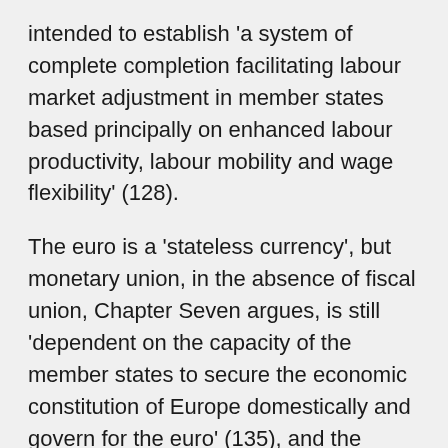intended to establish 'a system of complete completion facilitating labour market adjustment in member states based principally on enhanced labour productivity, labour mobility and wage flexibility' (128).
The euro is a 'stateless currency', but monetary union, in the absence of fiscal union, Chapter Seven argues, is still 'dependent on the capacity of the member states to secure the economic constitution of Europe domestically and govern for the euro' (135), and the chapter sets out the working principles of monetary union and the key role of wage-price flexibility with admirable clarity (136-43). The responsibilities falling on states are especially testing in times of economic downturn and opposition but at the same time the monetary